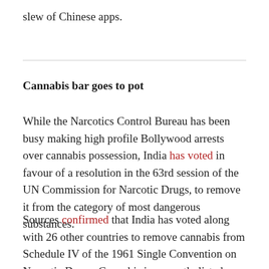slew of Chinese apps.
Cannabis bar goes to pot
While the Narcotics Control Bureau has been busy making high profile Bollywood arrests over cannabis possession, India has voted in favour of a resolution in the 63rd session of the UN Commission for Narcotic Drugs, to remove it from the category of most dangerous substances.
Sources confirmed that India has voted along with 26 other countries to remove cannabis from Schedule IV of the 1961 Single Convention on Narcotic Drugs. Cannabis is currently listed alongside opioids like